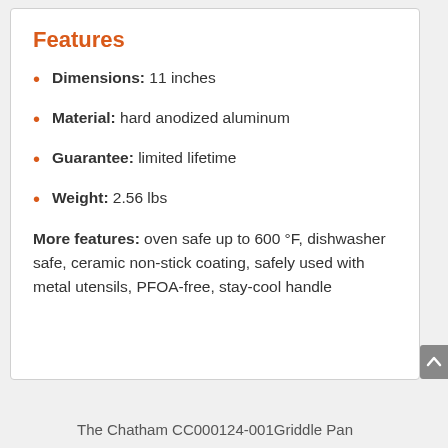Features
Dimensions: 11 inches
Material: hard anodized aluminum
Guarantee: limited lifetime
Weight: 2.56 lbs
More features: oven safe up to 600 °F, dishwasher safe, ceramic non-stick coating, safely used with metal utensils, PFOA-free, stay-cool handle
The Chatham CC000124-001Griddle Pan